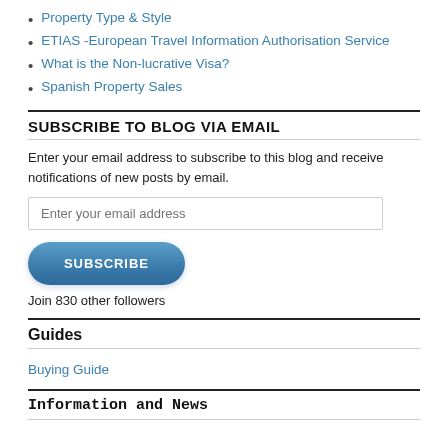Property Type & Style
ETIAS -European Travel Information Authorisation Service
What is the Non-lucrative Visa?
Spanish Property Sales
SUBSCRIBE TO BLOG VIA EMAIL
Enter your email address to subscribe to this blog and receive notifications of new posts by email.
Enter your email address
SUBSCRIBE
Join 830 other followers
Guides
Buying Guide
Information and News